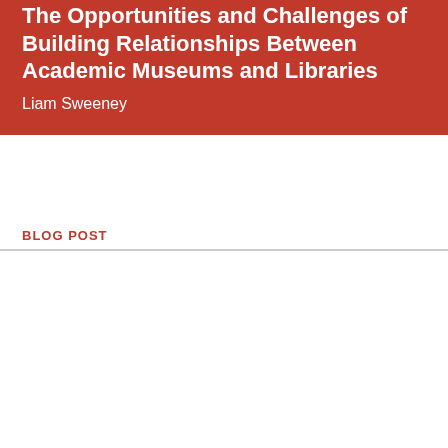The Opportunities and Challenges of Building Relationships Between Academic Museums and Libraries
Liam Sweeney
BLOG POST
ITHAKA websites, which ITHAKA manages from its location in the United States, use cookies for different purposes, such as to ensure web site function, display non-targeted ads, provide social media features, and track usage, engaging with third party service providers such as Google Analytics. You may manage non-essential cookies in “Cookie Settings”. For more information, please see our Cookie Policy
Cookie Settings
OK, proceed